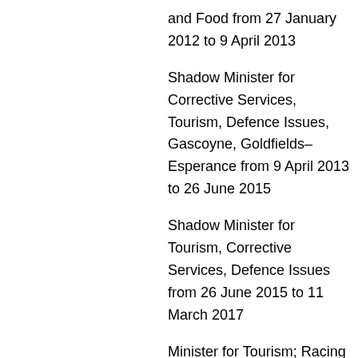and Food from 27 January 2012 to 9 April 2013
Shadow Minister for Corrective Services, Tourism, Defence Issues, Gascoyne, Goldfields–Esperance from 9 April 2013 to 26 June 2015
Shadow Minister for Tourism, Corrective Services, Defence Issues from 26 June 2015 to 11 March 2017
Minister for Tourism; Racing and Gaming; Small Business; Defence Issues; Citizenship and Multicultural Affairs from 17 March 2017 to 6 April 2017